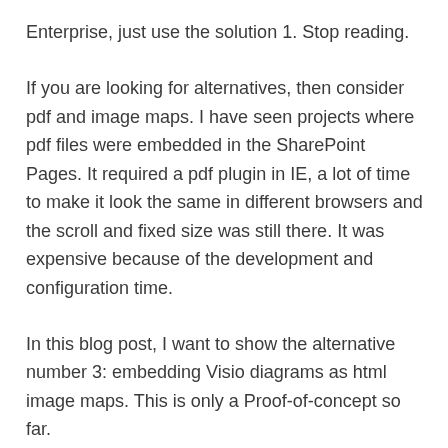Enterprise, just use the solution 1. Stop reading.
If you are looking for alternatives, then consider pdf and image maps. I have seen projects where pdf files were embedded in the SharePoint Pages. It required a pdf plugin in IE, a lot of time to make it look the same in different browsers and the scroll and fixed size was still there. It was expensive because of the development and configuration time.
In this blog post, I want to show the alternative number 3: embedding Visio diagrams as html image maps. This is only a Proof-of-concept so far.
Image Maps
Image maps are an old html fellow that can contain links